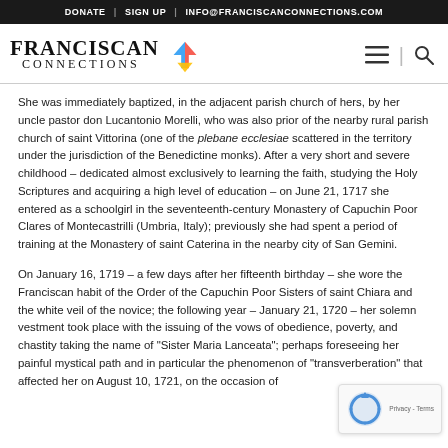DONATE | SIGN UP | INFO@FRANCISCANCONNECTIONS.COM
[Figure (logo): Franciscan Connections logo with colorful flame/arrow icon, hamburger menu and search icon on the right]
She was immediately baptized, in the adjacent parish church of hers, by her uncle pastor don Lucantonio Morelli, who was also prior of the nearby rural parish church of saint Vittorina (one of the plebane ecclesiae scattered in the territory under the jurisdiction of the Benedictine monks). After a very short and severe childhood – dedicated almost exclusively to learning the faith, studying the Holy Scriptures and acquiring a high level of education – on June 21, 1717 she entered as a schoolgirl in the seventeenth-century Monastery of Capuchin Poor Clares of Montecastrilli (Umbria, Italy); previously she had spent a period of training at the Monastery of saint Caterina in the nearby city of San Gemini.
On January 16, 1719 – a few days after her fifteenth birthday – she wore the Franciscan habit of the Order of the Capuchin Poor Sisters of saint Chiara and the white veil of the novice; the following year – January 21, 1720 – her solemn vestment took place with the issuing of the vows of obedience, poverty, and chastity taking the name of "Sister Maria Lanceata"; perhaps foreseeing her painful mystical path and in particular the phenomenon of "transverberation" that affected her on August 10, 1721, on the occasion of